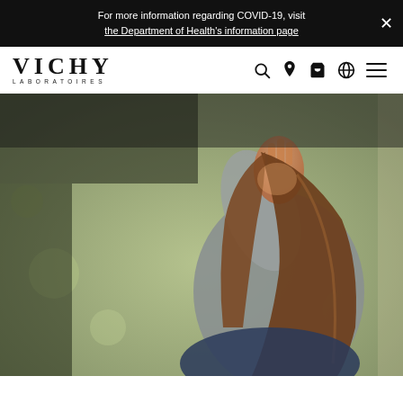For more information regarding COVID-19, visit the Department of Health's information page
[Figure (logo): Vichy Laboratoires logo - brand name in large serif letters with LABORATOIRES in small caps beneath]
[Figure (photo): Woman with long brown hair sitting outdoors on grass, holding her face thoughtfully, wearing a grey sweater, photographed from behind/side angle]